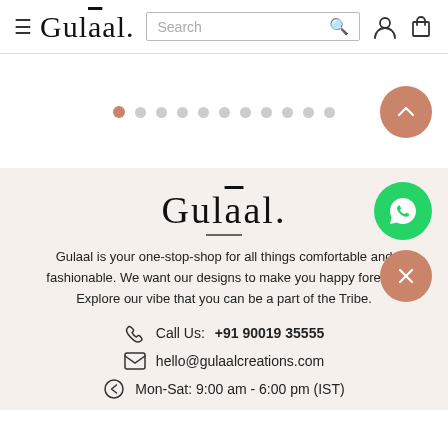Gulaal. | Search | [user icon] [cart icon]
[Figure (other): Carousel pagination dots, first dot active (orange), remaining 10 dots gray]
Gulaal.
Gulaal is your one-stop-shop for all things comfortable and fashionable. We want our designs to make you happy forever. Explore our vibe that you can be a part of the Tribe.
Call Us: +91 90019 35555
hello@gulaalcreations.com
Mon-Sat: 9:00 am - 6:00 pm (IST)